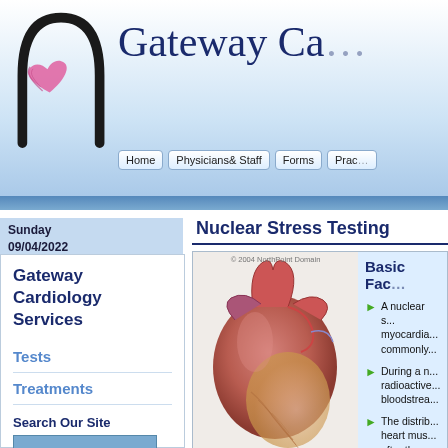[Figure (logo): Gateway Cardiology logo: arch shape with pink heart, blue arch on white/light blue gradient background]
Gateway Ca...
Home | Physicians & Staff | Forms | Prac...
Sunday 09/04/2022
Gateway Cardiology Services
Tests
Treatments
Search Our Site
Nuclear Stress Testing
[Figure (illustration): Medical illustration of the human heart, anatomical, full color]
© 2004 NorthPoint Domain
Basic Fac...
A nuclear s... myocardia... commonly...
During a n... radioactive... bloodstrea...
The distrib... heart mus... after the p... produces t... that show ... muscle ma... oxygen.